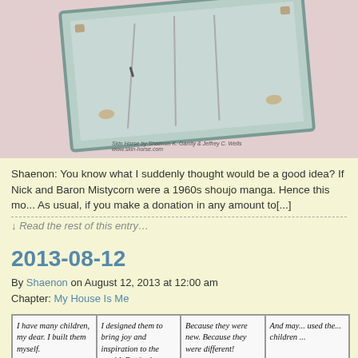[Figure (illustration): Top portion of a comic strip image showing a framed illustration tilted at an angle, with a pink/mauve background. Watermark reads 'Skin Horse by Shaenon K. Garrity & Jeffrey C. Wells, www.skin-horse.com']
Shaenon: You know what I suddenly thought would be a good idea?  If Nick and Baron Mistycorn were a 1960s shoujo manga.  Hence this mo... As usual, if you make a donation in any amount to[...]
↓ Read the rest of this entry…
2013-08-12
By Shaenon on August 12, 2013 at 12:00 am
Chapter: My House Is Me
[Figure (illustration): Four-panel comic strip. Panel 1: Character says 'I have many children, my dear. I built them myself.' Panel 2: Character says 'I designed them to bring joy and inspiration to the world. But in time they brought fear as well.' Panel 3: Character says 'Because they were new. Because they were different!' Panel 4: Character (partially visible) says 'And maybe used them children...']